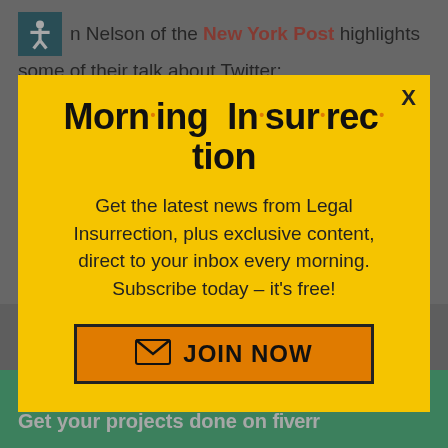n Nelson of the New York Post highlights some of their talk about Twitter:
Portnoy, an internet celebrity with more than
[Figure (infographic): Morning Insurrection newsletter popup modal with yellow background. Title reads 'Morn·ing In·sur·rec·tion' in bold black with orange dots. Body text: 'Get the latest news from Legal Insurrection, plus exclusive content, direct to your inbox every morning. Subscribe today – it's free!' Orange JOIN NOW button with envelope icon.]
The best day in my life, in terms of business and life and everything, day before [click to top] an[d] every[thing]
[Figure (infographic): Green Fiverr advertisement banner: 'Working from home? Get your projects done on fiverr']